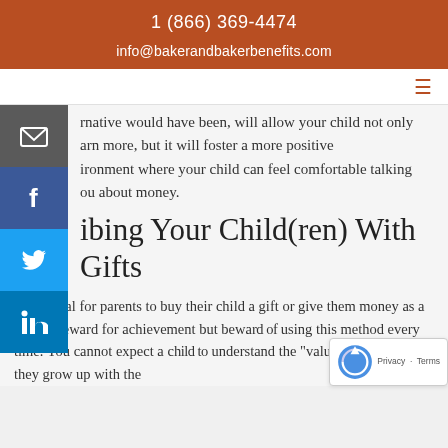1 (866) 369-4474
info@bakerandbakerbenefits.com
...rnative would have been, will allow your child not only ...arn more, but it will foster a more positive ...ironment where your child can feel comfortable talking ...ou about money.
...ibing Your Child(ren) With Gifts
It's normal for parents to buy their child a gift or give them money as a special reward for achievement but bewa... using this method every time. You cannot expect a c... understand the "value of a dollar" if they grow up with the...